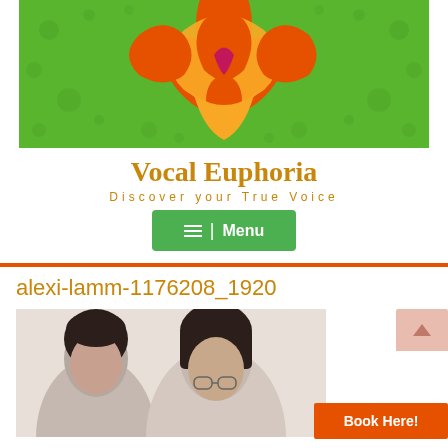[Figure (illustration): Green mandala/floral decorative logo banner for Vocal Euphoria website — orange, yellow and magenta geometric floral pattern on green background with dot accents]
Vocal Euphoria
Discover your True Voice
≡ | Menu
alexi-lamm-1176208_1920
[Figure (photo): Photo of two people with dark hair, partially visible, close-up portrait style on light background]
Book Here!